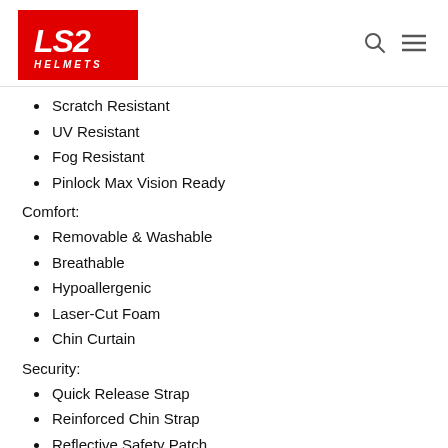LS2 Helmets
Scratch Resistant
UV Resistant
Fog Resistant
Pinlock Max Vision Ready
Comfort:
Removable & Washable
Breathable
Hypoallergenic
Laser-Cut Foam
Chin Curtain
Security:
Quick Release Strap
Reinforced Chin Strap
Reflective Safety Patch